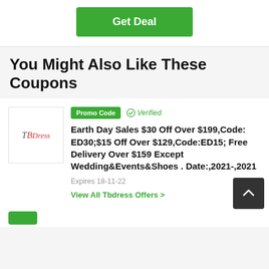[Figure (other): Green 'Get Deal' button at top of page]
You Might Also Like These Coupons
[Figure (logo): TBDress store logo in a white bordered box]
Promo Code  ✓ Verified
Earth Day Sales $30 Off Over $199,Code: ED30;$15 Off Over $129,Code:ED15; Free Delivery Over $159 Except Wedding&Events&Shoes . Date:,2021-,2021
Expires 18-11-22
View All Tbdress Offers >